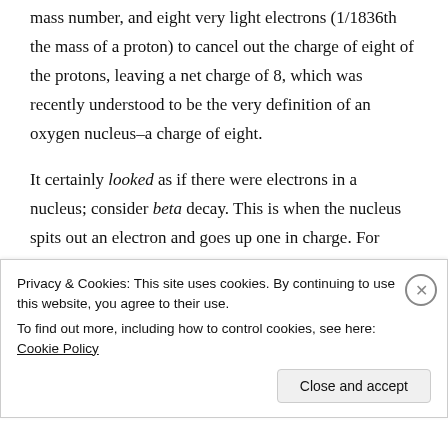mass number, and eight very light electrons (1/1836th the mass of a proton) to cancel out the charge of eight of the protons, leaving a net charge of 8, which was recently understood to be the very definition of an oxygen nucleus–a charge of eight.
It certainly looked as if there were electrons in a nucleus; consider beta decay. This is when the nucleus spits out an electron and goes up one in charge. For instance, the thorium-234 I referenced will spit out an electron (in this context, it's known as a "beta particle"), uncovering another proton, raising the atomic number
Privacy & Cookies: This site uses cookies. By continuing to use this website, you agree to their use.
To find out more, including how to control cookies, see here: Cookie Policy
Close and accept